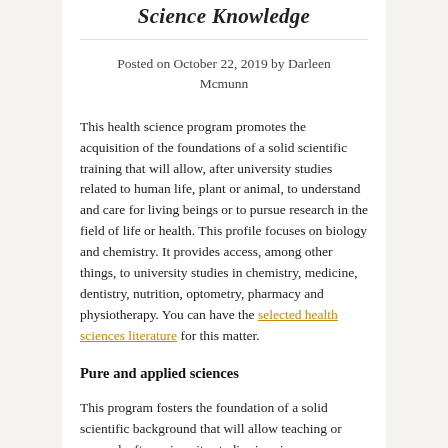Science Knowledge
Posted on October 22, 2019 by Darleen Mcmunn
This health science program promotes the acquisition of the foundations of a solid scientific training that will allow, after university studies related to human life, plant or animal, to understand and care for living beings or to pursue research in the field of life or health. This profile focuses on biology and chemistry. It provides access, among other things, to university studies in chemistry, medicine, dentistry, nutrition, optometry, pharmacy and physiotherapy. You can have the selected health sciences literature for this matter.
Pure and applied sciences
This program fosters the foundation of a solid scientific background that will allow teaching or research after university studies in science or engineering work after specialization in a faculty of applied science. This